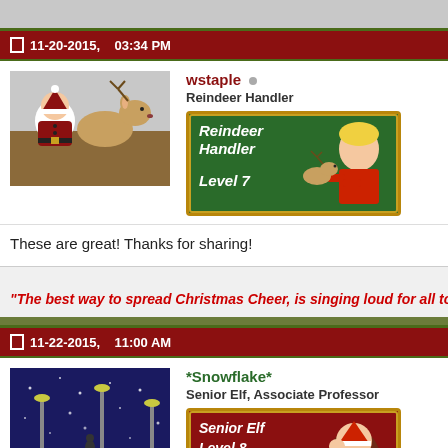11-20-2015, 03:34 PM
wstaple — Reindeer Handler — Reindeer Handler Level 7
These are great! Thanks for sharing!
"The best way to spread Christmas Cheer, is singing loud for all to h
11-22-2015, 11:00 AM
*Snowflake* — Senior Elf, Associate Professor — Senior Elf Level 8